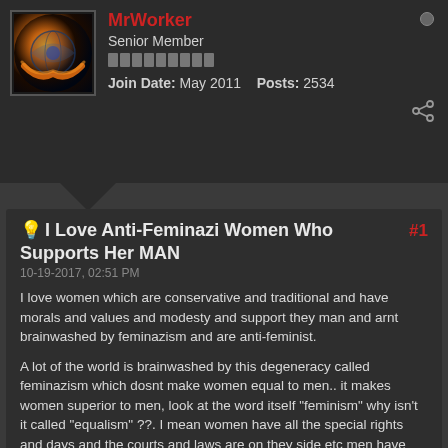MrWorker
Senior Member
Join Date: May 2011   Posts: 2534
I Love Anti-Feminazi Women Who Supports Her MAN
10-19-2017, 02:51 PM
I love women which are conservative and traditional and have morals and values and modesty and support they man and arnt brainwashed by feminazism and are anti-feminist.
A lot of the world is brainwashed by this degeneracy called feminazism which dosnt make women equal to men.. it makes women superior to men, look at the word itself "feminism" why isn't it called "equalism" ??. I mean women have all the special rights and days and the courts and laws are on they side etc men have nothing. men have to work for everything they have and even then it can be taken off of them in courts....and cant see they children etc..... its not right... it is EVIL in fact.
This is why MGTOW exists and why a lot of men no longer care for relationships at all because everything is against them.... this means that ultimately everyone is gonna end up lonely.... women are lonely men are lonely etc.